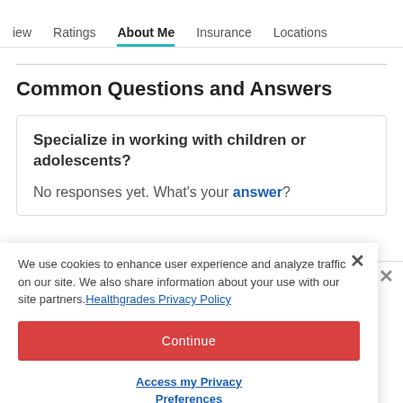iew   Ratings   About Me   Insurance   Locations
Common Questions and Answers
Specialize in working with children or adolescents?
No responses yet. What's your answer?
We use cookies to enhance user experience and analyze traffic on our site. We also share information about your use with our site partners. Healthgrades Privacy Policy
Continue
Access my Privacy Preferences